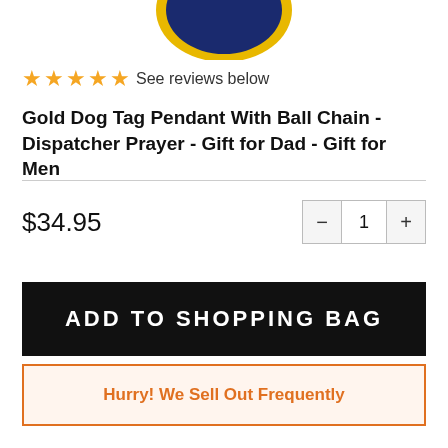[Figure (photo): Partial view of a gold dog tag pendant with blue enamel, gold border, cropped at top of page]
★★★★★ See reviews below
Gold Dog Tag Pendant With Ball Chain - Dispatcher Prayer - Gift for Dad - Gift for Men
$34.95
ADD TO SHOPPING BAG
Hurry! We Sell Out Frequently